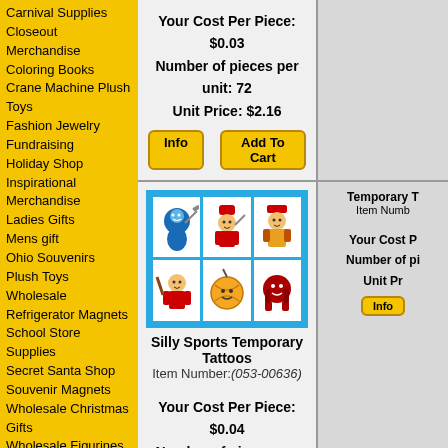Carnival Supplies
Closeout Merchandise
Coloring Books
Crane Machine Plush Toys
Fashion Jewelry
Fundraising
Holiday Shop
Inspirational Merchandise
Ladies Gifts
Mens gift
Ohio Souvenirs
Plush Toys Wholesale
Refrigerator Magnets
School Store Supplies
Secret Santa Shop
Souvenir Magnets
Wholesale Christmas Gifts
Wholesale Figurines
Wholesale Flea Market Items
Wholesale General Merchandise
Wholesale Glow Product
Wholesale Keychains
Wholesale Liquidation Merchandise
Wholesale Mugs
Wholesale Novelties
Your Cost Per Piece: $0.03
Number of pieces per unit: 72
Unit Price: $2.16
[Figure (illustration): Silly Sports Temporary Tattoos product image showing 6 cartoon sports character tattoos on blue background in a 3x2 grid]
Silly Sports Temporary Tattoos
Item Number:(053-00636)
Your Cost Per Piece: $0.04
Number of pieces per unit: 144
Unit Price: $5.76
Temporary Tattoos Sport Design
Item Number:(052-37694)
Your Cost Per Piece: $0.03
Temporary T...
Item Numb...
Your Cost P...
Number of pi...
Unit Pr...